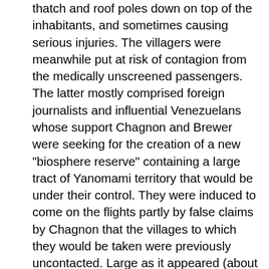thatch and roof poles down on top of the inhabitants, and sometimes causing serious injuries. The villagers were meanwhile put at risk of contagion from the medically unscreened passengers. The latter mostly comprised foreign journalists and influential Venezuelans whose support Chagnon and Brewer were seeking for the creation of a new "biosphere reserve" containing a large tract of Yanomami territory that would be under their control. They were induced to come on the flights partly by false claims by Chagnon that the villages to which they would be taken were previously uncontacted. Large as it appeared (about the size of Connecticut), the projected new biosphere area would according to Tierney have excluded 5/6 of the area and population of the already demarcated Yanomami reserve, and "afforded neither them nor their lands any protection." (Tierney 2000: 188). The plan thus would have been, in a word, a catastrophe for most Yanomami. As Tierney reports, most Venezuelan anthropologists and Catholic missionaries saw the drastically reduced biosphere "as a coup against Yanomami territory." (Tierney 188) The Yanomami who would have been excluded comprised most of the